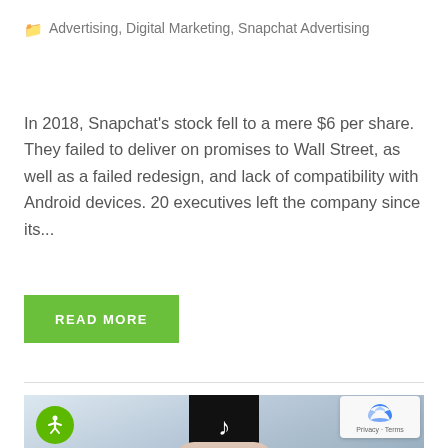🗀 Advertising, Digital Marketing, Snapchat Advertising
In 2018, Snapchat's stock fell to a mere $6 per share. They failed to deliver on promises to Wall Street, as well as a failed redesign, and lack of compatibility with Android devices. 20 executives left the company since its...
READ MORE
[Figure (photo): Hand holding a black smartphone displaying the TikTok logo, against a light blue-grey background]